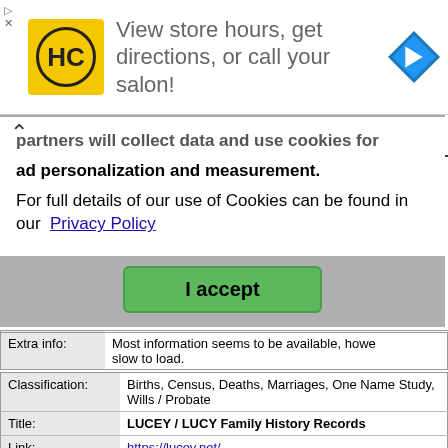[Figure (screenshot): Advertisement banner: HC logo (yellow circle with HC letters), text 'View store hours, get directions, or call your salon!', and a blue navigation arrow icon on the right.]
partners will collect data and use cookies for ad personalization and measurement.
For full details of our use of Cookies can be found in our  Privacy Policy
I accept
Extra info:   Most information seems to be available, however slow to load.
| Classification: | Births, Census, Deaths, Marriages, One Name Study, Wills / Probate |
| --- | --- |
| Title: | LUCEY / LUCY Family History Records |
| Link: | https://lucey.net/ |
| Description: | The site for everyone interested in researching the LUCEY and LUCY surname and their family history |
|  | Researching the surnames LUCEY & |